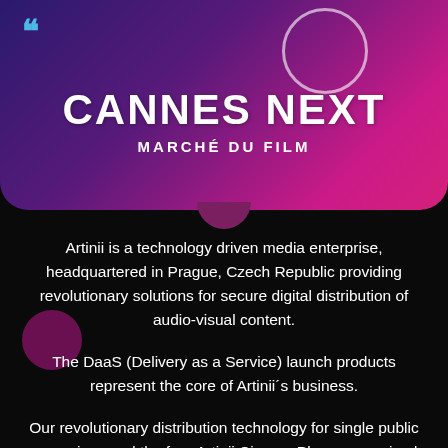[Figure (logo): Cannes Next Marché du Film banner with gradient purple-to-pink background, circular logo outline top right, and quote icon top left]
CANNES NEXT
MARCHÉ DU FILM
Artinii is a technology driven media enterprise, headquartered in Prague, Czech Republic providing revolutionary solutions for secure digital distribution of audio-visual content.
The DaaS (Delivery as a Service) launch products represent the core of Artinii´s business.
Our revolutionary distribution technology for single public screenings and the free Artinii Cinema Player are poised to change the future of global film distribution and entertainment.
Our aim is making a single place for all your films and digital distribution needs.